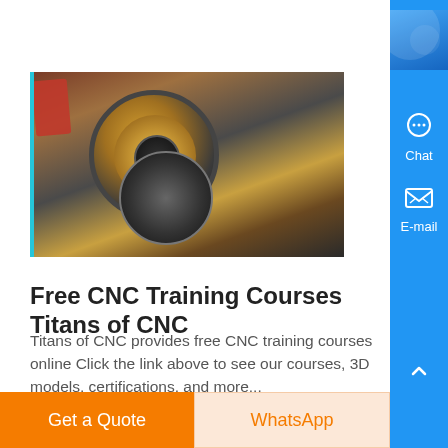[Figure (photo): Photo of CNC machined gears and mechanical components, including a large gear with golden/brown coloring and a smaller dark disc]
Free CNC Training Courses Titans of CNC
Titans of CNC provides free CNC training courses online Click the link above to see our courses, 3D models, certifications, and more...
Know More
[Figure (photo): Partial photo of industrial CNC equipment or machinery, partially visible at bottom of page]